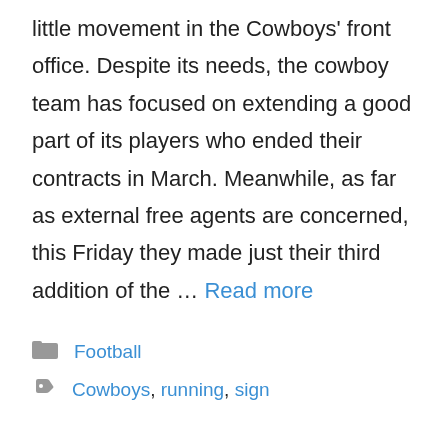little movement in the Cowboys' front office. Despite its needs, the cowboy team has focused on extending a good part of its players who ended their contracts in March. Meanwhile, as far as external free agents are concerned, this Friday they made just their third addition of the … Read more
Football
Cowboys, running, sign